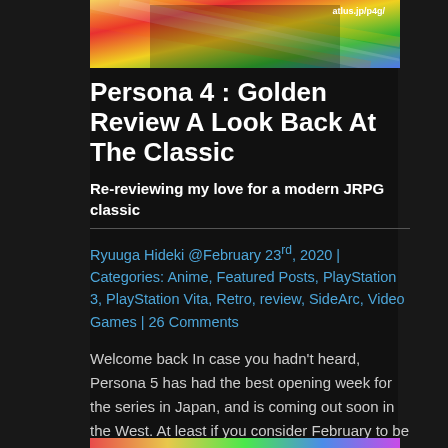[Figure (illustration): Banner image showing anime characters from Persona 4 Golden with colorful diagonal stripe background. URL 'atlus.jp/p4g/' visible in top right corner.]
Persona 4 : Golden Review A Look Back At The Classic
Re-reviewing my love for a modern JRPG classic
Ryuuga Hideki @February 23rd, 2020 | Categories: Anime, Featured Posts, PlayStation 3, PlayStation Vita, Retro, review, SideArc, Video Games | 26 Comments
Welcome back In case you hadn't heard, Persona 5 has had the best opening week for the series in Japan, and is coming out soon in the West. At least if you consider February to be soon. Even though this is a few months away for most of us, this seemed like a great time […]